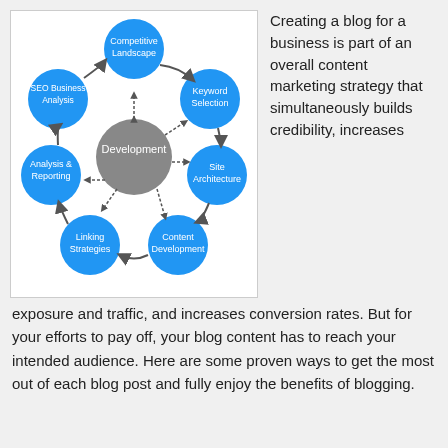[Figure (flowchart): Circular SEO process diagram with a gray 'Development' circle in the center, surrounded by six blue circles connected with arrows: Competitive Landscape (top), Keyword Selection (top-right), Site Architecture (right), Content Development (bottom-right), Linking Strategies (bottom-left), Analysis & Reporting (left), SEO Business Analysis (top-left).]
Creating a blog for a business is part of an overall content marketing strategy that simultaneously builds credibility, increases exposure and traffic, and increases conversion rates. But for your efforts to pay off, your blog content has to reach your intended audience. Here are some proven ways to get the most out of each blog post and fully enjoy the benefits of blogging.